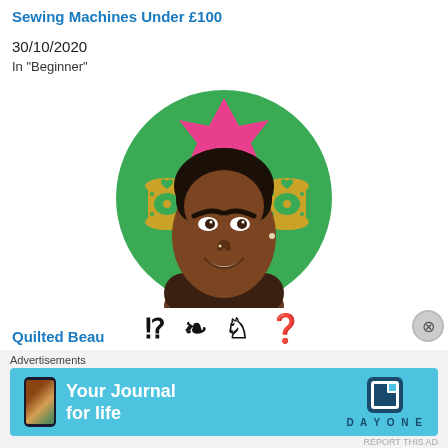Sewing Machines Under £100
30/10/2020
In "Beginner"
[Figure (illustration): Circular avatar illustration of a woman with natural hair on a green background with sewing thread spools and social media share icons below]
Quilted Beau
26/02/2021
Advertisements
[Figure (screenshot): Day One app advertisement banner: 'Your Journal for life' with app icon and phone mockup on blue background]